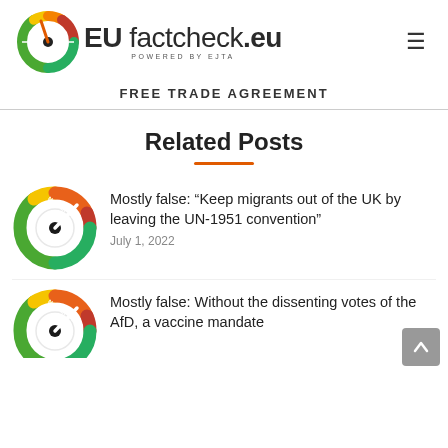EU factcheck.eu POWERED BY EJTA
FREE TRADE AGREEMENT
Related Posts
Mostly false: “Keep migrants out of the UK by leaving the UN-1951 convention”
July 1, 2022
Mostly false: Without the dissenting votes of the AfD, a vaccine mandate